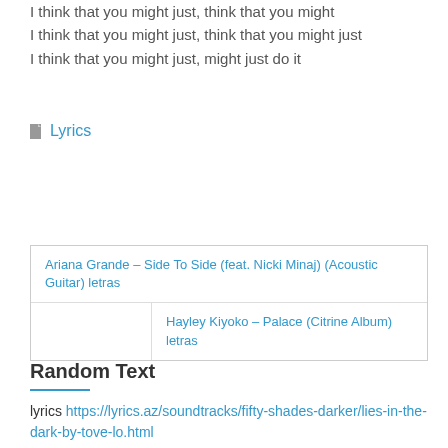I think that you might just, think that you might just
I think that you might just, might just do it
Lyrics
Ariana Grande – Side To Side (feat. Nicki Minaj) (Acoustic Guitar) letras
Hayley Kiyoko – Palace (Citrine Album) letras
Random Text
lyrics https://lyrics.az/soundtracks/fifty-shades-darker/lies-in-the-dark-by-tove-lo.html
Sponsors
lyrics https://lyrics.az/loggins-and-messina/allsongs.html